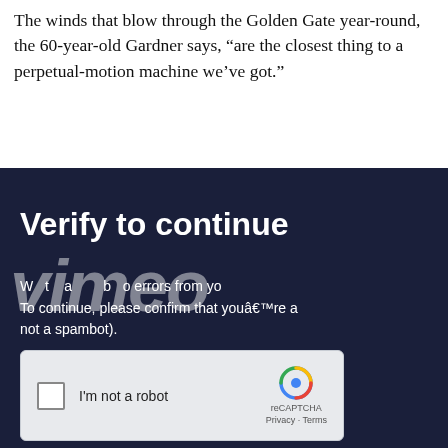The winds that blow through the Golden Gate year-round, the 60-year-old Gardner says, “are the closest thing to a perpetual-motion machine we’ve got.”
[Figure (screenshot): A dark navy blue Vimeo 'Verify to continue' overlay panel. Contains the Vimeo logo watermark in large italic bold text, a heading 'Verify to continue', body text about detecting errors and confirming not a spambot, and a reCAPTCHA checkbox widget with 'I'm not a robot' label.]